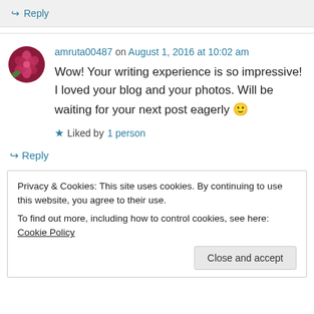↪ Reply
amruta00487 on August 1, 2016 at 10:02 am
Wow! Your writing experience is so impressive! I loved your blog and your photos. Will be waiting for your next post eagerly 🙂
★ Liked by 1 person
↪ Reply
Privacy & Cookies: This site uses cookies. By continuing to use this website, you agree to their use. To find out more, including how to control cookies, see here: Cookie Policy
Close and accept